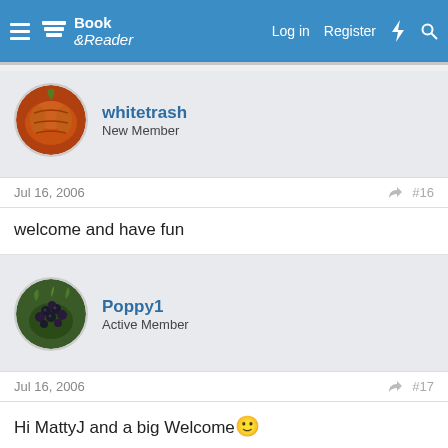Book & Reader — Log in  Register
whitetrash
New Member
Jul 16, 2006  #16
welcome and have fun
Poppy1
Active Member
Jul 16, 2006  #17
Hi MattyJ and a big Welcome 🙂
You must log in or register to reply here.